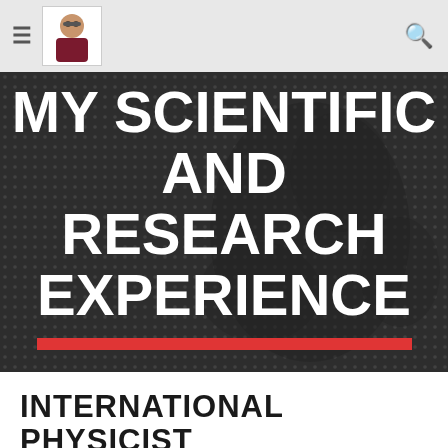≡ [logo] 🔍
[Figure (illustration): Dark gray hero banner with halftone dot pattern background and a decorative world map silhouette in darker dots. Contains large white bold uppercase text: MY SCIENTIFIC AND RESEARCH EXPERIENCE, with a red horizontal rule beneath.]
MY SCIENTIFIC AND RESEARCH EXPERIENCE
INTERNATIONAL PHYSICIST